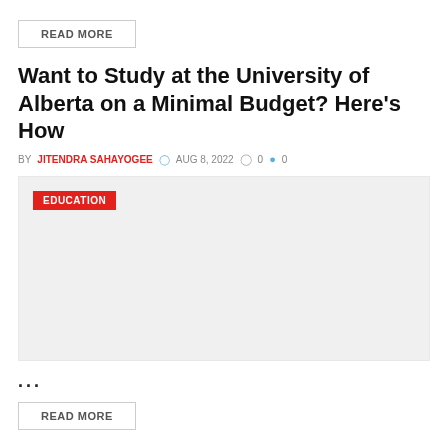READ MORE
Want to Study at the University of Alberta on a Minimal Budget? Here's How
BY JITENDRA SAHAYOGEE  AUG 8, 2022  0  0
[Figure (other): Gray placeholder image box with red EDUCATION badge in top-left corner]
...
READ MORE